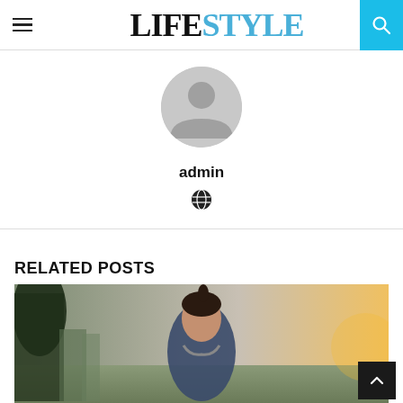LIFESTYLE
[Figure (illustration): Default user avatar: grey circle with silhouette of a person's head and shoulders]
admin
[Figure (illustration): Globe/world icon in dark color]
RELATED POSTS
[Figure (photo): Young woman with dark hair in a ponytail, wearing a blue jacket and headphones around her neck, looking upward outdoors. Bokeh background with trees and warm sunset light.]